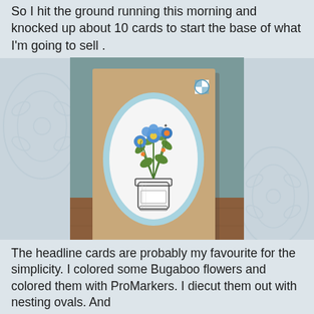So I hit the ground running this morning and knocked up about 10 cards to start the base of what I'm going to sell .
[Figure (photo): A handmade greeting card on a kraft/brown cardstock base with a light blue oval mat and a white oval panel featuring a stamped and colored image of flowers in a mason jar. A small blue checkered button is in the upper right corner of the card. The card is photographed on a wooden surface against a grey background.]
The headline cards are probably my favourite for the simplicity. I colored some Bugaboo flowers and colored them with ProMarkers. I diecut them out with nesting ovals. And